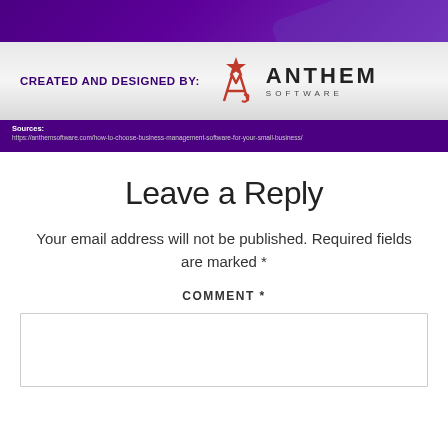[Figure (logo): Anthem Software logo banner with 'CREATED AND DESIGNED BY:' text, Anthem Software logo with stylized A icon, sources section with URL on purple background]
Leave a Reply
Your email address will not be published. Required fields are marked *
COMMENT *